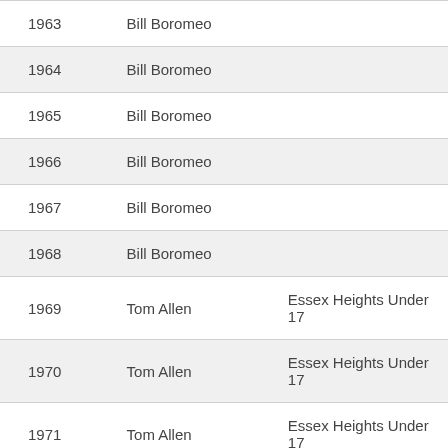| Year | Name | Club |
| --- | --- | --- |
| 1963 | Bill Boromeo |  |
| 1964 | Bill Boromeo |  |
| 1965 | Bill Boromeo |  |
| 1966 | Bill Boromeo |  |
| 1967 | Bill Boromeo |  |
| 1968 | Bill Boromeo |  |
| 1969 | Tom Allen | Essex Heights Under 17 |
| 1970 | Tom Allen | Essex Heights Under 17 |
| 1971 | Tom Allen | Essex Heights Under 17 |